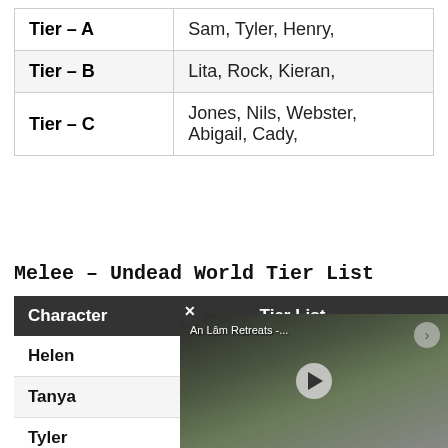|  |  |
| --- | --- |
| Tier – A | Sam, Tyler, Henry, |
| Tier – B | Lita, Rock, Kieran, |
| Tier – C | Jones, Nils, Webster, Abigail, Cady, |
Melee – Undead World Tier List
| Character | Tier List |
| --- | --- |
| Helen |  |
| Tanya |  |
| Tyler |  |
[Figure (screenshot): Video overlay showing 'An Lâm Retreats -...' with a play button, close (X) button, and next arrow, overlaid on the bottom-right of the table.]